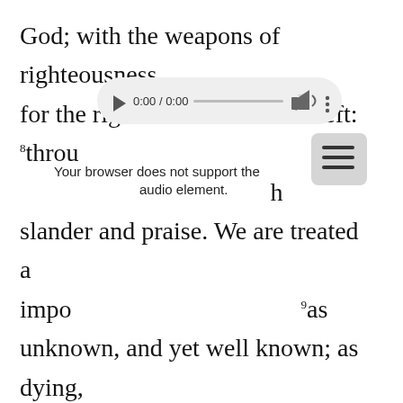God; with the weapons of righteousness for the right hand and for the left: 8through honour and dishonour, through evil report and good report: as deceivers, and yet true; slander and praise. We are treated as impostors, and yet are true; 9as unknown, and yet well known; as dying, and behold, we live; as punished, and yet not killed; 10as sorrowful, yet always rejoicing; as poor, yet making many rich; as having nothing, yet possessing everything.
[Figure (screenshot): Browser audio player overlay showing '0:00 / 0:00' with play button, progress bar, volume icon, and more options icon, with a hamburger menu button beside it, and text 'Your browser does not support the audio element.' below.]